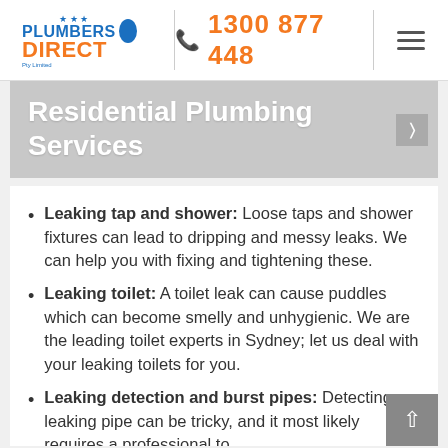Plumbers Direct | 1300 877 448
Residential Plumbing Services
Leaking tap and shower: Loose taps and shower fixtures can lead to dripping and messy leaks. We can help you with fixing and tightening these.
Leaking toilet: A toilet leak can cause puddles which can become smelly and unhygienic. We are the leading toilet experts in Sydney; let us deal with your leaking toilets for you.
Leaking detection and burst pipes: Detecting a leaking pipe can be tricky, and it most likely requires a professional to